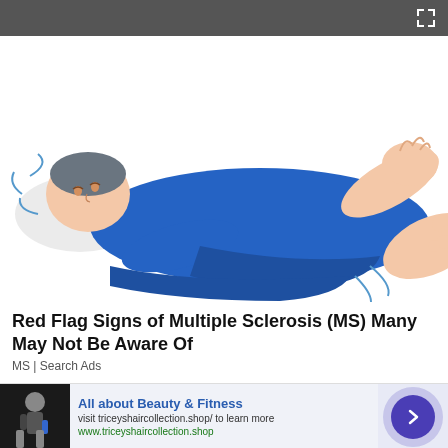[Figure (illustration): Illustration of a person lying on their back in blue clothing, with limbs in distress — depicting symptoms of Multiple Sclerosis]
Red Flag Signs of Multiple Sclerosis (MS) Many May Not Be Aware Of
MS | Search Ads
[Figure (infographic): Advertisement banner: All about Beauty & Fitness — visit triceyshaircollection.shop/ to learn more — www.triceyshaircollection.shop — with photo of person holding water bottle and a circular arrow button]